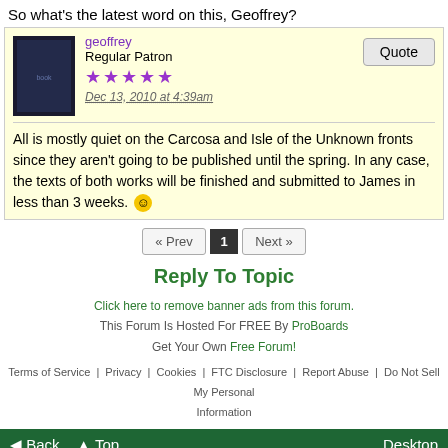So what's the latest word on this, Geoffrey?
geoffrey
Regular Patron
Dec 13, 2010 at 4:39am
Quote
All is mostly quiet on the Carcosa and Isle of the Unknown fronts since they aren't going to be published until the spring. In any case, the texts of both works will be finished and submitted to James in less than 3 weeks. :)
« Prev  1  Next »
Reply To Topic
Click here to remove banner ads from this forum.
This Forum Is Hosted For FREE By ProBoards
Get Your Own Free Forum!
Terms of Service   Privacy   Cookies   FTC Disclosure   Report Abuse   Do Not Sell My Personal Information
◄ Back   ▲ Top   Desktop